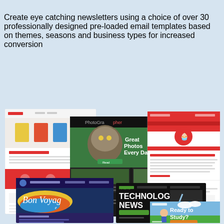Create eye catching newsletters using a choice of over 30 professionally designed pre-loaded email templates based on themes, seasons and business types for increased conversion
[Figure (screenshot): A collage of several professionally designed email newsletter templates shown overlapping each other. Templates include a furniture/chairs newsletter with red accents, a dark photographer newsletter with nature photos, a red cupcake/Valentine's newsletter, a dark blue Bon Voyage travel newsletter, a Technology News newsletter with dark background, and a Ready to Study children's newsletter with green grass background.]